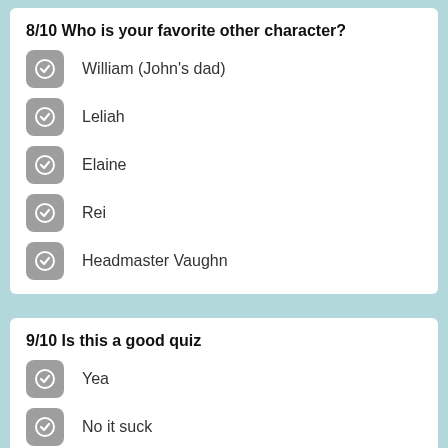8/10 Who is your favorite other character?
William (John's dad)
Leliah
Elaine
Rei
Headmaster Vaughn
9/10 Is this a good quiz
Yea
No it suck
Ummmmmmmmmmmm it could improve a bit
10/10 Which emoji